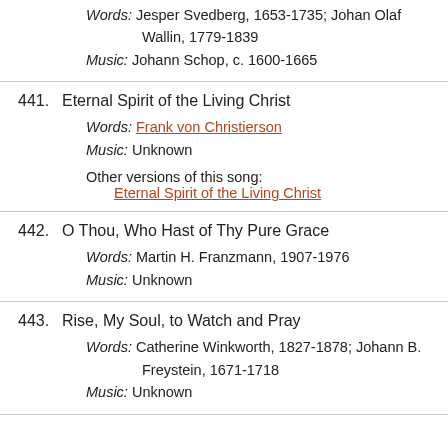Words: Jesper Svedberg, 1653-1735; Johan Olaf Wallin, 1779-1839
Music: Johann Schop, c. 1600-1665
441.  Eternal Spirit of the Living Christ
Words: Frank von Christierson
Music: Unknown
Other versions of this song: Eternal Spirit of the Living Christ
442.  O Thou, Who Hast of Thy Pure Grace
Words: Martin H. Franzmann, 1907-1976
Music: Unknown
443.  Rise, My Soul, to Watch and Pray
Words: Catherine Winkworth, 1827-1878; Johann B. Freystein, 1671-1718
Music: Unknown